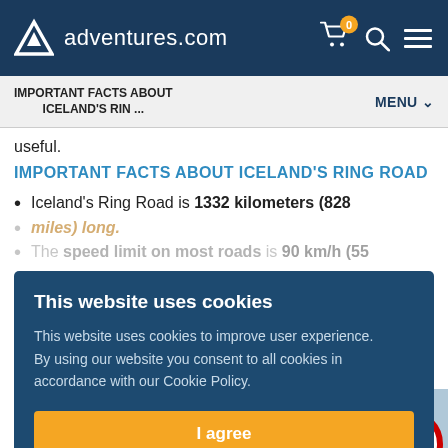adventures.com
IMPORTANT FACTS ABOUT ICELAND'S RIN ... | MENU
useful.
IMPORTANT FACTS ABOUT ICELAND'S RING ROAD
Iceland's Ring Road is 1332 kilometers (828 miles) long.
The speed limit on most roads is 90 km/h (55
[Figure (screenshot): Cookie consent modal dialog with title 'This website uses cookies', body text, 'I agree' button and links 'I disagree' and 'Read more']
[Figure (photo): Road in Iceland with speed sign showing 90 km/h limit and mountainous background]